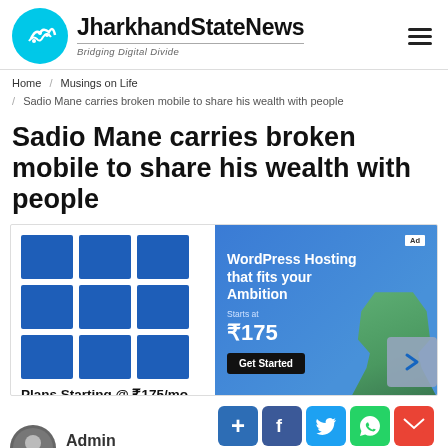JharkhandStateNews — Bridging Digital Divide
Home / Musings on Life / Sadio Mane carries broken mobile to share his wealth with people
Sadio Mane carries broken mobile to share his wealth with people
[Figure (screenshot): Advertisement banner: Plans Starting @ ₹175/mo — WordPress Hosting that fits your Ambition, Starts at ₹175, Get Started button]
Admin
08 August 2020
[Figure (infographic): Social sharing buttons: +, Facebook, Twitter, WhatsApp, Gmail, LinkedIn]